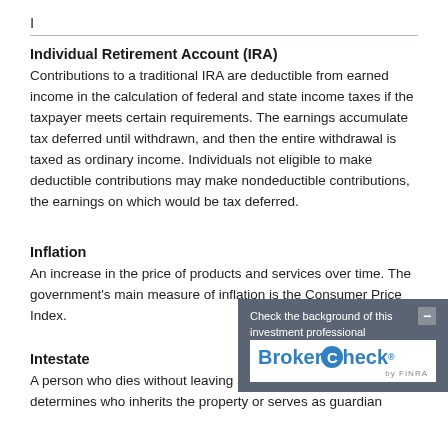I
Individual Retirement Account (IRA)
Contributions to a traditional IRA are deductible from earned income in the calculation of federal and state income taxes if the taxpayer meets certain requirements. The earnings accumulate tax deferred until withdrawn, and then the entire withdrawal is taxed as ordinary income. Individuals not eligible to make deductible contributions may make nondeductible contributions, the earnings on which would be tax deferred.
Inflation
An increase in the price of products and services over time. The government's main measure of inflation is the Consumer Price Index.
Intestate
A person who dies without leaving a valid will. State law determines who inherits the property or serves as guardian
[Figure (other): BrokerCheck widget overlay with text 'Check the background of this investment professional' and BrokerCheck logo by FINRA]